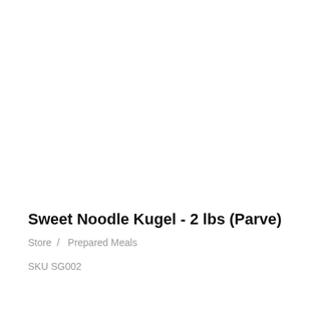Sweet Noodle Kugel - 2 lbs (Parve)
Store  /  Prepared Meals
SKU SG002